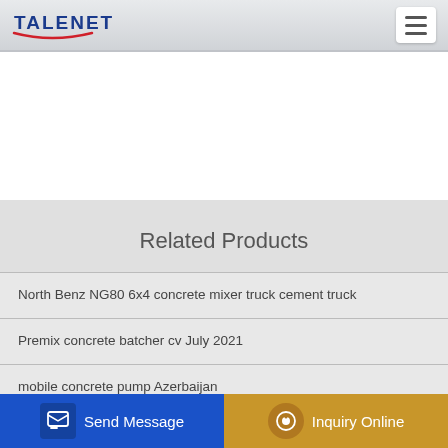TALENET
Related Products
North Benz NG80 6x4 concrete mixer truck cement truck
Premix concrete batcher cv July 2021
mobile concrete pump Azerbaijan
Concrete mixer truck Renault from Spain 20000 EUR for sale